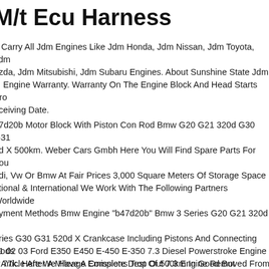M/t Ecu Harness
e Carry All Jdm Engines Like Jdm Honda, Jdm Nissan, Jdm Toyota, Jdm azda, Jdm Mitsubishi, Jdm Subaru Engines. About Sunshine State Jdm c. Engine Warranty. Warranty On The Engine Block And Head Starts Fro eceiving Date.
47d20b Motor Block With Piston Con Rod Bmw G20 G21 320d G30 G31 0d X 500km. Weber Cars Gmbh Here You Will Find Spare Parts For You ndi, Vw Or Bmw At Fair Prices 3,000 Square Meters Of Storage Space ational & International We Work With The Following Partners Worldwide ayment Methods Bmw Engine "b47d20b" Bmw 3 Series G20 G21 320d X eries G30 G31 520d X Crankcase Including Pistons And Connecting Rods e Article After A Mileage Emissions Test Of 500km In Good But sassembled Condition. Please Pay Attention To The Version Part Number efore Ordering. You Are Welcome To Tell Us Your Chassis Number And W heck Which Engine Will Fit Your Vehicle. Engine Block 8580515 Piston 73776 Connecting Rod Scope Of Delivery Cylinder Head With Camshaf ngine Block With Crankshaft + Balancer Shafts, Pistons With Connecting ods And Small Parts Shown La No. B47d.
01 02 03 Ford E350 E450 E-450 E-350 7.3 Diesel Powerstroke Engine ly 77k. Here We Have A Complete Drop Out 7.3 Engine Removed From